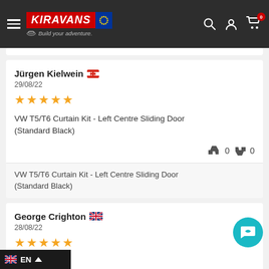[Figure (logo): Kiravans logo with EU flag and 'Build your adventure.' tagline on dark header bar with hamburger menu, search, user, and cart icons]
Jürgen Kielwein 🇨🇭
29/08/22
★★★★½
VW T5/T6 Curtain Kit - Left Centre Sliding Door (Standard Black)
👍 0 👎 0
VW T5/T6 Curtain Kit - Left Centre Sliding Door (Standard Black)
George Crighton 🇬🇧
28/08/22
★★★★★
...ulation